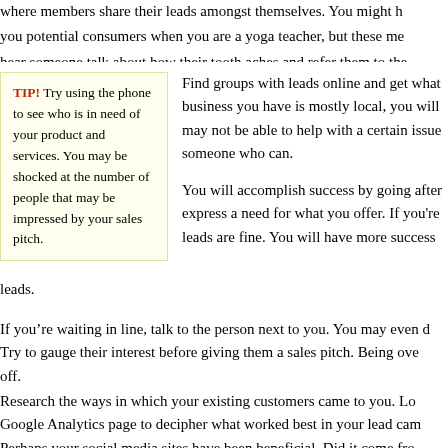where members share their leads amongst themselves. You might find you potential consumers when you are a yoga teacher, but these me... hear someone talk about how their tooth aches and refer them to the...
TIP! Try using the phone to see who is in need of your product and services. You may be shocked at the number of people that may be impressed by your sales pitch.
Find groups with leads online and get what... business you have is mostly local, you will... may not be able to help with a certain issue... someone who can.

You will accomplish success by going after... express a need for what you offer. If you're... leads are fine. You will have more success... leads.
If you're waiting in line, talk to the person next to you. You may even... Try to gauge their interest before giving them a sales pitch. Being ove... off.
Research the ways in which your existing customers came to you. Loc... Google Analytics page to decipher what worked best in your lead cam... Perhaps your social media sites have been beneficial. Did it come fro... posting? No matter where it is, it might be a great area to locate poten...